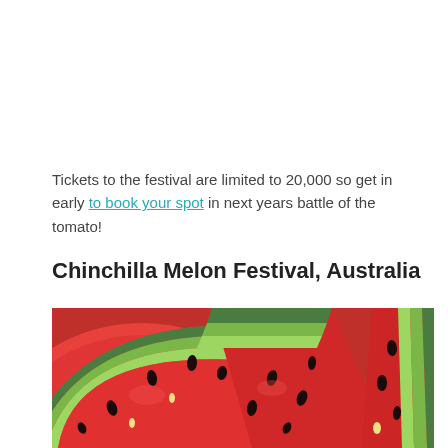Tickets to the festival are limited to 20,000 so get in early to book your spot in next years battle of the tomato!
Chinchilla Melon Festival, Australia
[Figure (photo): Close-up photograph of multiple sliced watermelon wedges showing bright red flesh, black seeds, and green rind, filling the frame.]